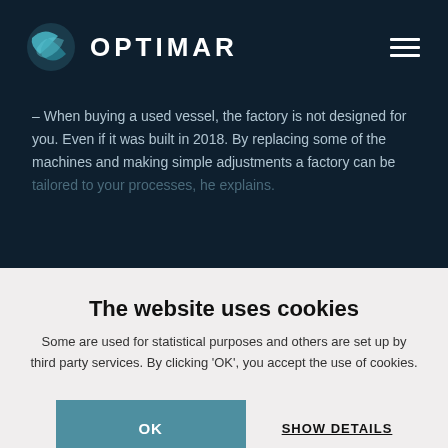[Figure (logo): Optimar company logo: teal circular fish/leaf icon and OPTIMAR text in white on dark navy background]
– When buying a used vessel, the factory is not designed for you. Even if it was built in 2018. By replacing some of the machines and making simple adjustments a factory can be tailored to your processes, he explains.
The website uses cookies
Some are used for statistical purposes and others are set up by third party services. By clicking 'OK', you accept the use of cookies.
OK
SHOW DETAILS